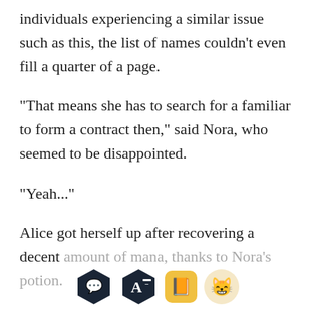individuals experiencing a similar issue such as this, the list of names couldn't even fill a quarter of a page.
“That means she has to search for a familiar to form a contract then,” said Nora, who seemed to be disappointed.
“Yeah...”
Alice got herself up after recovering a decent amount of mana, thanks to Nora’s potion.
[Figure (screenshot): App toolbar with four icons: chat bubble (dark hexagon), font/text (dark hexagon with A-), book (orange rectangle), and smiling cat emoji (light circle)]